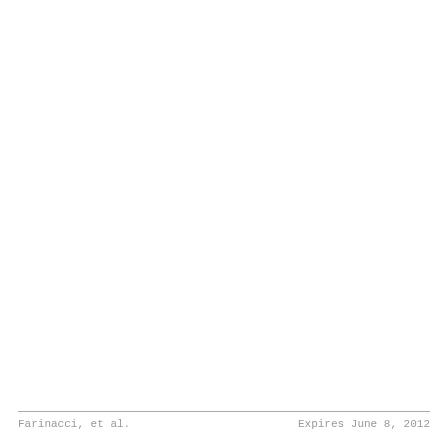Farinacci, et al.          Expires June 8, 2012